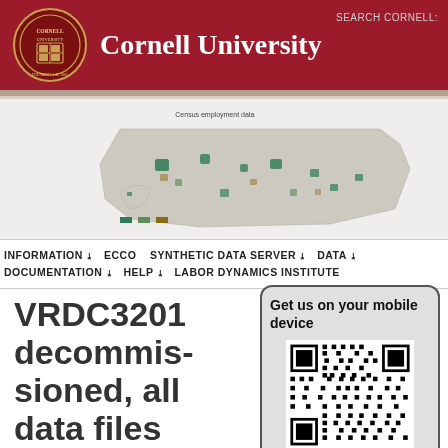Cornell University
[Figure (map): US county-level map with green and brown shading (Cornell VRDC data visualization)]
INFORMATION  ECCO  SYNTHETIC DATA SERVER  DATA  DOCUMENTATION  HELP  LABOR DYNAMICS INSTITUTE
VRDC3201 decommissioned, all data files migrated
Get us on your mobile device
[Figure (other): QR code for mobile device access]